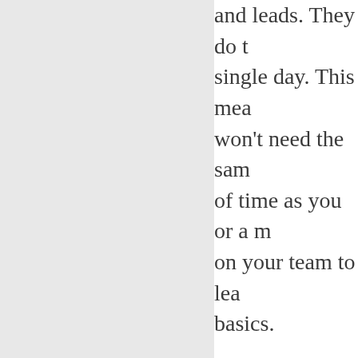and leads. They do this single day. This means won't need the same of time as you or a m on your team to lea basics.
Second, hiring a con for the role can be c than hiring someone because they don't h pay payroll taxes, in benefits, or payroll taxes. How much sh budget for SEO outs
An hourly rate for a consultant is betwe